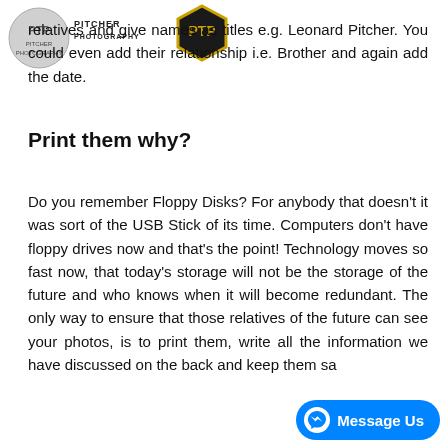[Figure (logo): PTP Photography logo — circular grey logo on left, golden hexagonal PTP logo on right, with text 'PITCHER PHOTOGRAPHY' in center]
relatives and give names as titles e.g. Leonard Pitcher. You could even add their relationship i.e. Brother and again add the date.
Print them why?
Do you remember Floppy Disks? For anybody that doesn't it was sort of the USB Stick of its time. Computers don't have floppy drives now and that's the point! Technology moves so fast now, that today's storage will not be the storage of the future and who knows when it will become redundant. The only way to ensure that those relatives of the future can see your photos, is to print them, write all the information we have discussed on the back and keep them sa
[Figure (screenshot): Facebook Messenger 'Message Us' button overlay at bottom right]